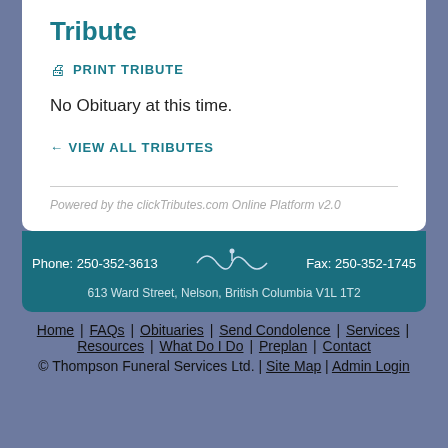Tribute
PRINT TRIBUTE
No Obituary at this time.
← VIEW ALL TRIBUTES
Powered by the clickTributes.com Online Platform v2.0
Phone: 250-352-3613  Fax: 250-352-1745  613 Ward Street, Nelson, British Columbia V1L 1T2
Home | FAQs | Obituaries | Send Condolence | Services | Resources | What Do I Do | Preplan | Contact
© Thompson Funeral Services Ltd. | Site Map | Admin Login